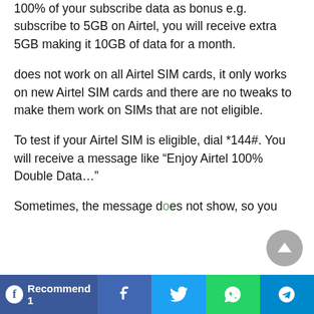100% of your subscribe data as bonus e.g. subscribe to 5GB on Airtel, you will receive extra 5GB making it 10GB of data for a month.
does not work on all Airtel SIM cards, it only works on new Airtel SIM cards and there are no tweaks to make them work on SIMs that are not eligible.
To test if your Airtel SIM is eligible, dial *144#. You will receive a message like “Enjoy Airtel 100% Double Data…”
Sometimes, the message does not show, so you